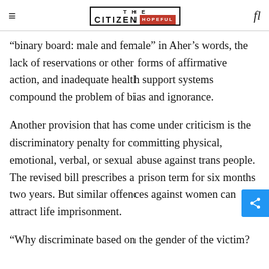THE CITIZEN IS HOPEFUL
“binary board: male and female” in Aher’s words, the lack of reservations or other forms of affirmative action, and inadequate health support systems compound the problem of bias and ignorance.
Another provision that has come under criticism is the discriminatory penalty for committing physical, emotional, verbal, or sexual abuse against trans people. The revised bill prescribes a prison term for six months two years. But similar offences against women can attract life imprisonment.
“Why discriminate based on the gender of the victim?